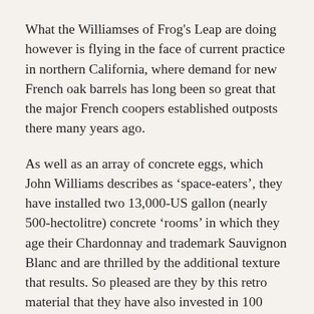What the Williamses of Frog's Leap are doing however is flying in the face of current practice in northern California, where demand for new French oak barrels has long been so great that the major French coopers established outposts there many years ago.
As well as an array of concrete eggs, which John Williams describes as 'space-eaters', they have installed two 13,000-US gallon (nearly 500-hectolitre) concrete 'rooms' in which they age their Chardonnay and trademark Sauvignon Blanc and are thrilled by the additional texture that results. So pleased are they by this retro material that they have also invested in 100 small, square 240-US gallon (910-litre) concrete cubes for their unusually zesty Zinfandel, with results John Williams describes as 'tremendously exciting'. (The results for Cabernet Sauvignon are less conclusive; it seems the